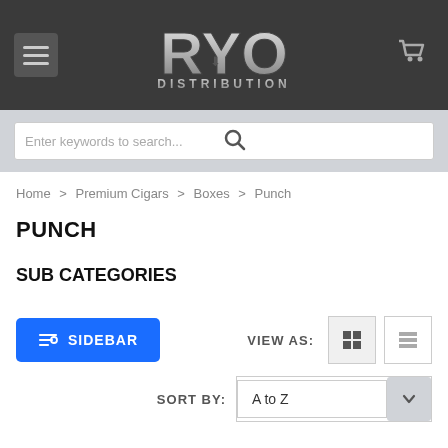[Figure (logo): RYO Distribution logo on dark grey header with hamburger menu icon on left and shopping cart icon on right]
Enter keywords to search...
Home > Premium Cigars > Boxes > Punch
PUNCH
SUB CATEGORIES
SIDEBAR
VIEW AS:
SORT BY: A to Z